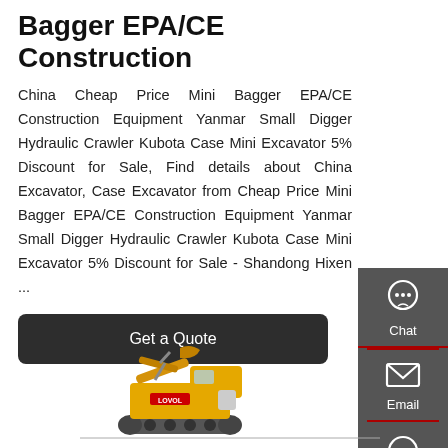Bagger EPA/CE Construction
China Cheap Price Mini Bagger EPA/CE Construction Equipment Yanmar Small Digger Hydraulic Crawler Kubota Case Mini Excavator 5% Discount for Sale, Find details about China Excavator, Case Excavator from Cheap Price Mini Bagger EPA/CE Construction Equipment Yanmar Small Digger Hydraulic Crawler Kubota Case Mini Excavator 5% Discount for Sale - Shandong Hixen ...
[Figure (other): Dark rounded rectangle button with white text 'Get a Quote']
[Figure (illustration): Yellow hydraulic crawler mini excavator (Lovol brand) illustration at the bottom of the page, with sidebar showing Chat, Email, and Contact icons on the right side]